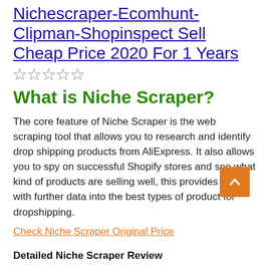Nichescraper-Ecomhunt-Clipman-Shopinspect Sell Cheap Price 2020 For 1 Years
[Figure (other): Five empty star ratings (all unselected)]
What is Niche Scraper?
The core feature of Niche Scraper is the web scraping tool that allows you to research and identify drop shipping products from AliExpress. It also allows you to spy on successful Shopify stores and see what kind of products are selling well, this provides you with further data into the best types of product for dropshipping.
Check Niche Scraper Original Price
Detailed Niche Scraper Review